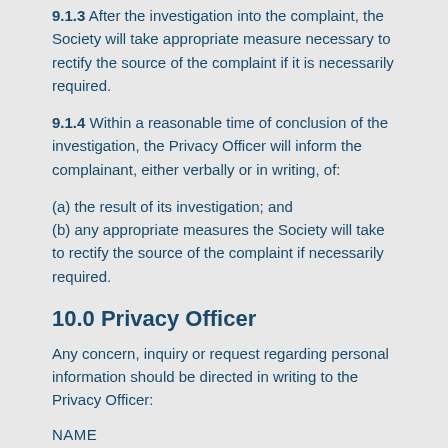9.1.3 After the investigation into the complaint, the Society will take appropriate measure necessary to rectify the source of the complaint if it is necessarily required.
9.1.4 Within a reasonable time of conclusion of the investigation, the Privacy Officer will inform the complainant, either verbally or in writing, of:
(a) the result of its investigation; and
(b) any appropriate measures the Society will take to rectify the source of the complaint if necessarily required.
10.0 Privacy Officer
Any concern, inquiry or request regarding personal information should be directed in writing to the Privacy Officer:
NAME